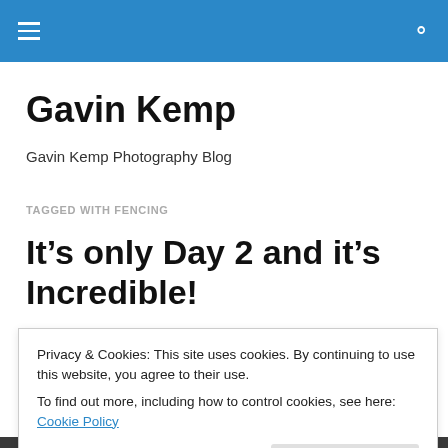Navigation bar with hamburger menu and search icon
Gavin Kemp
Gavin Kemp Photography Blog
TAGGED WITH FENCING
It’s only Day 2 and it’s Incredible!
Privacy & Cookies: This site uses cookies. By continuing to use this website, you agree to their use.
To find out more, including how to control cookies, see here: Cookie Policy
[Figure (photo): Dark photograph partially visible at bottom of page]